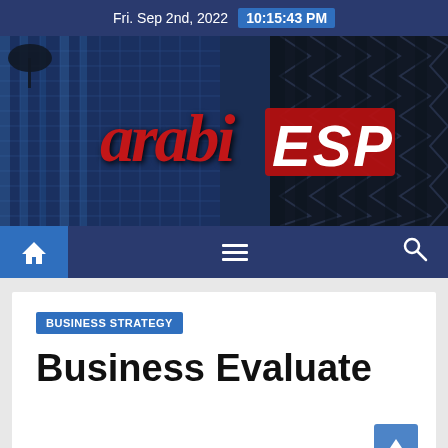Fri. Sep 2nd, 2022  10:15:43 PM
[Figure (logo): arabiESP logo on a dark blue building background with glass facade architecture]
[Figure (infographic): Website navigation bar with home icon, hamburger menu, and search icon on dark navy background]
BUSINESS STRATEGY
Business Evaluate